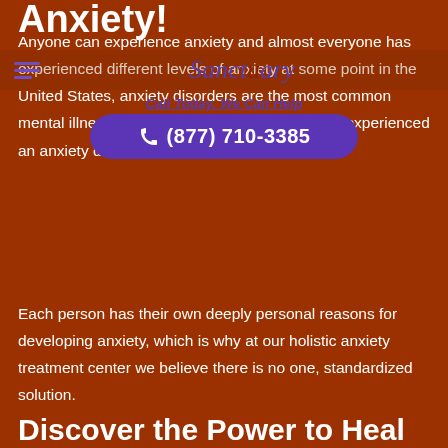Anxiety!
[Figure (logo): Sanctuary logo in script font with purple and red colors]
Anyone can experience anxiety and almost everyone has experienced different levels of anxiety at some point in the United States, anxiety disorders are the most common mental illnesses and nearly 18% of adults have experienced an anxiety disorder.
Call Today. We Can Help
(877) 710-3385
Each person has their own deeply personal reasons for developing anxiety, which is why at our holistic anxiety treatment center we believe there is no one, standardized solution.
Discover the Power to Heal